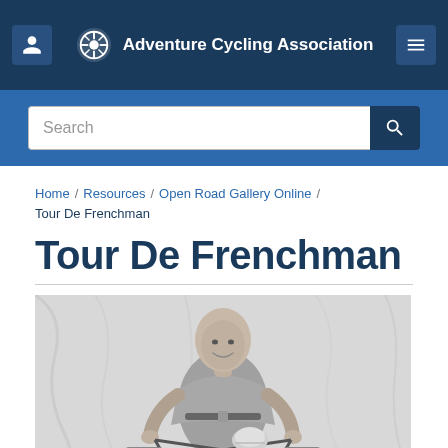Adventure Cycling Association
Search
Home / Resources / Open Road Gallery Online / Tour De Frenchman
Tour De Frenchman
[Figure (photo): Black and white photo of a bald man smiling, standing with a loaded touring bicycle with panniers and a helmet resting on the handlebars, in front of a light fabric backdrop.]